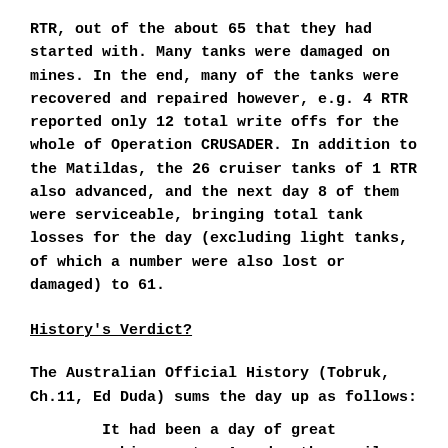RTR, out of the about 65 that they had started with. Many tanks were damaged on mines. In the end, many of the tanks were recovered and repaired however, e.g. 4 RTR reported only 12 total write offs for the whole of Operation CRUSADER. In addition to the Matildas, the 26 cruiser tanks of 1 RTR also advanced, and the next day 8 of them were serviceable, bringing total tank losses for the day (excluding light tanks, of which a number were also lost or damaged) to 61.
History's Verdict?
The Australian Official History (Tobruk, Ch.11, Ed Duda) sums the day up as follows:
It had been a day of great achievement . A wedge three miles deep had been driven